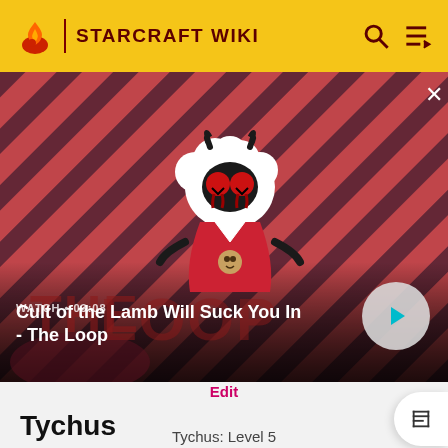STARCRAFT WIKI
[Figure (screenshot): Video thumbnail for 'Cult of the Lamb Will Suck You In - The Loop' showing a cartoon lamb character with red eyes on a diagonal striped red and dark background. WATCH • 03:08 label with play button overlay.]
Cult of the Lamb Will Suck You In - The Loop
Edit
Tychus
Tychus: Level 5